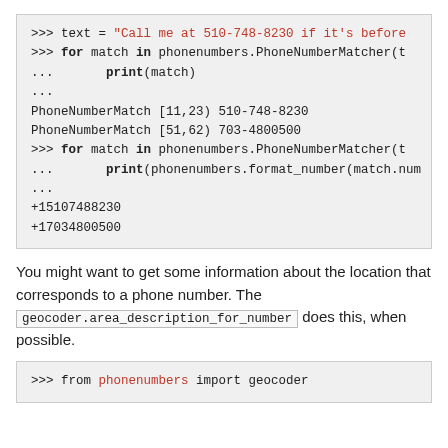[Figure (screenshot): Python REPL code block showing phonenumbers.PhoneNumberMatcher usage with output lines PhoneNumberMatch [11,23) 510-748-8230, PhoneNumberMatch [51,62) 703-4800500, then a second loop printing formatted numbers +15107488230 and +17034800500]
You might want to get some information about the location that corresponds to a phone number. The geocoder.area_description_for_number does this, when possible.
[Figure (screenshot): Python REPL code block starting with: >>> from phonenumbers import geocoder]